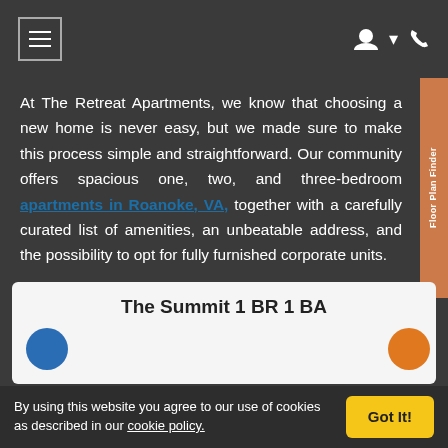Navigation bar with menu icon and user/phone icons
At The Retreat Apartments, we know that choosing a new home is never easy, but we made sure to make this process simple and straightforward. Our community offers spacious one, two, and three-bedroom apartments in Roanoke, VA, together with a carefully curated list of amenities, an unbeatable address, and the possibility to opt for fully furnished corporate units.
The Summit 1 BR 1 BA
By using this website you agree to our use of cookies as described in our cookie policy. Got It!